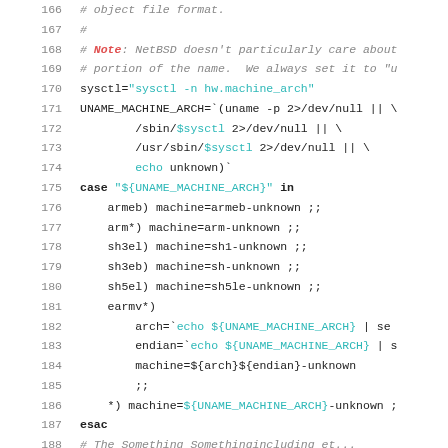Source code listing lines 166-187 (shell script)